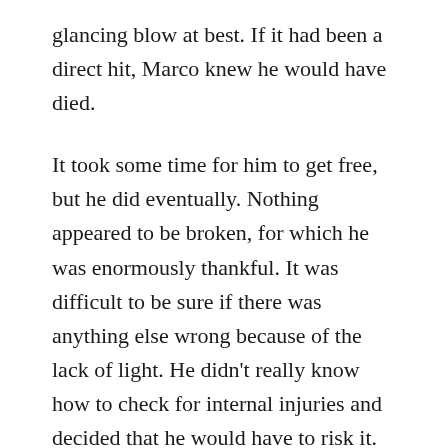glancing blow at best. If it had been a direct hit, Marco knew he would have died.
It took some time for him to get free, but he did eventually. Nothing appeared to be broken, for which he was enormously thankful. It was difficult to be sure if there was anything else wrong because of the lack of light. He didn't really know how to check for internal injuries and decided that he would have to risk it. If he didn't do something soon, the whole church would be on fire and the trapped people wouldn't stand a chance.
As a fire fighter, Marco was probably more aware than most people of the locations of fire extinguishers. He picked his way carefully over the rubble, ignoring the pleas for help. If he didn't get the fire under control, it